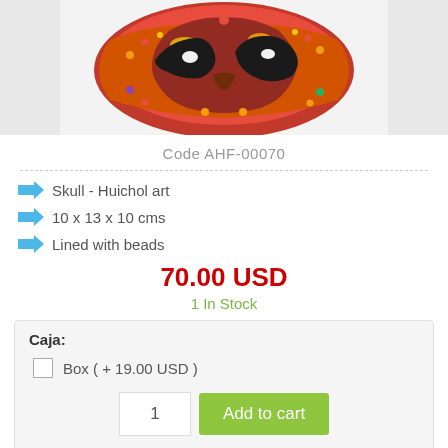[Figure (photo): Colorful beaded skull Huichol art object with red, orange, yellow and black bead patterns on white background]
Code AHF-00070
Skull - Huichol art
10 x 13 x 10 cms
Lined with beads
70.00 USD
1 In Stock
Caja:
Box ( + 19.00 USD )
1
Add to cart